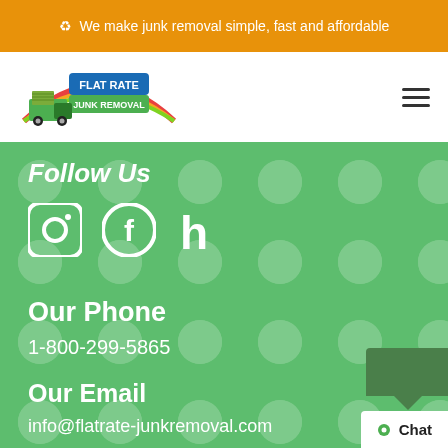♻ We make junk removal simple, fast and affordable
[Figure (logo): Flat Rate Junk Removal logo with truck and rainbow arc]
Follow Us
[Figure (illustration): Social media icons: Instagram, Facebook, Houzz]
Our Phone
1-800-299-5865
Our Email
info@flatrate-junkremoval.com